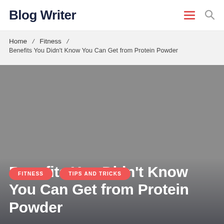Blog Writer
Home / Fitness / Benefits You Didn't Know You Can Get from Protein Powder
[Figure (photo): Gray hero image background with two red pill-shaped category tags labeled FITNESS and TIPS AND TRICKS, overlaid on a dark background.]
Benefits You Didn't Know You Can Get from Protein Powder